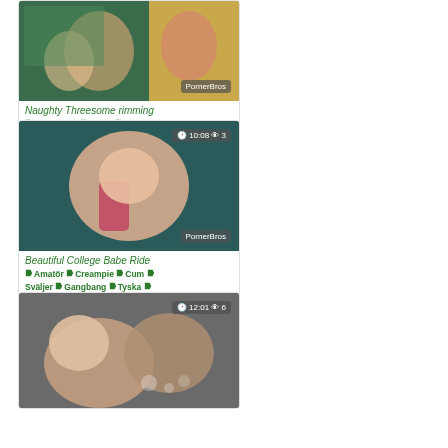[Figure (photo): Thumbnail image with PornerBros watermark]
Naughty Threesome rimming
🏷 Avsugning 🏷 Facial 🏷 Ridning 🏷 Spy
[Figure (photo): Thumbnail image with 10:08 duration and 3 views badge, PornerBros watermark]
Beautiful College Babe Ride
🏷 Amatör 🏷 Creampie 🏷 Cum 🏷 Sväljer 🏷 Gangbang 🏷 Tyska
[Figure (photo): Thumbnail image with 12:01 duration and 6 views badge]